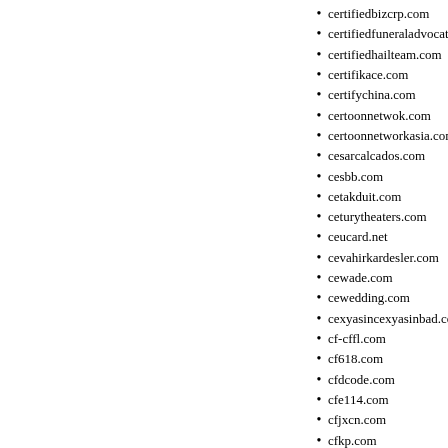certifiedbizcrp.com
certifiedfuneraladvocate.com
certifiedhailteam.com
certifikace.com
certifychina.com
certoonnetwok.com
certoonnetworkasia.com
cesarcalcados.com
cesbb.com
cetakduit.com
ceturytheaters.com
ceucard.net
cevahirkardesler.com
cewade.com
cewedding.com
cexyasincexyasinbad.com
cf-cffl.com
cf618.com
cfdcode.com
cfe114.com
cfjxcn.com
cfkp.com
cfm-cannes.com
cforcat.com
cg-cgi-binacc.net
cg-cgi-binacc2.net
cg-cgi-binbank.net
cg-cgi-binbank2.net